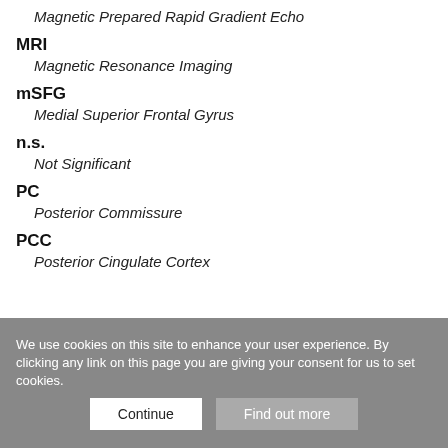Magnetic Prepared Rapid Gradient Echo
MRI
Magnetic Resonance Imaging
mSFG
Medial Superior Frontal Gyrus
n.s.
Not Significant
PC
Posterior Commissure
PCC
Posterior Cingulate Cortex
We use cookies on this site to enhance your user experience. By clicking any link on this page you are giving your consent for us to set cookies.